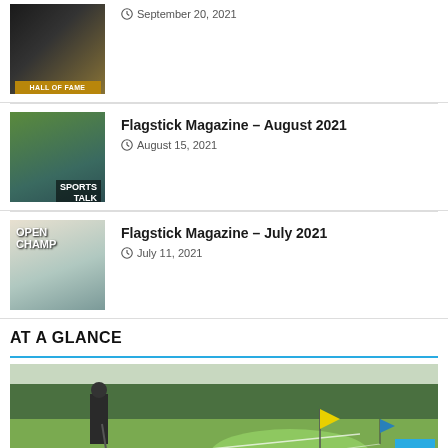[Figure (photo): Hall of Fame magazine cover thumbnail with dark background and gold/yellow badge]
September 20, 2021
[Figure (photo): Flagstick Magazine August 2021 cover showing golfers with Sports Talk banner]
Flagstick Magazine – August 2021
August 15, 2021
[Figure (photo): Flagstick Magazine July 2021 cover with Open Champ text and golfer]
Flagstick Magazine – July 2021
July 11, 2021
AT A GLANCE
[Figure (photo): Golf course photo showing golfer near the green with yellow flag and trees in background]